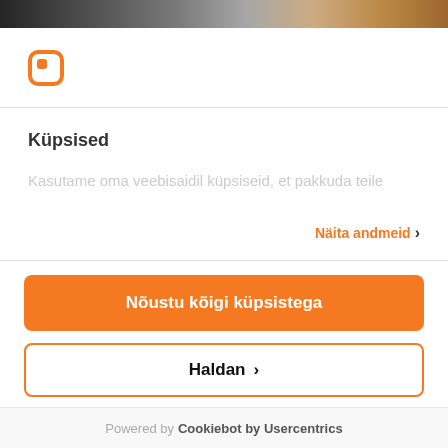[Figure (screenshot): Top image strip showing partial screenshots of website content]
[Figure (logo): Orange square-shaped logo icon]
Küpsised
Kasutame oma veebisaidil küpsiseid, et pakkuda teile
Näita andmeid ›
Nõustu kõigi küpsistega
Haldan ›
Keeldu
Powered by Cookiebot by Usercentrics